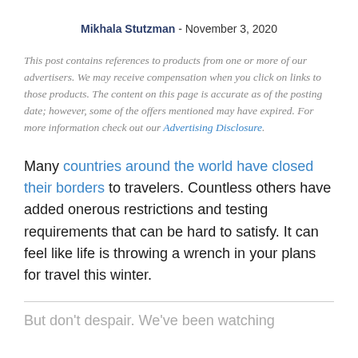Mikhala Stutzman - November 3, 2020
This post contains references to products from one or more of our advertisers. We may receive compensation when you click on links to those products. The content on this page is accurate as of the posting date; however, some of the offers mentioned may have expired. For more information check out our Advertising Disclosure.
Many countries around the world have closed their borders to travelers. Countless others have added onerous restrictions and testing requirements that can be hard to satisfy. It can feel like life is throwing a wrench in your plans for travel this winter.
But don't despair. We've been watching